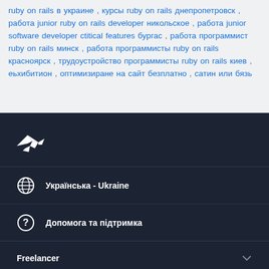ruby on rails в украине , курсы ruby on rails днепропетровск , работа junior ruby on rails developer никольское , работа junior software developer ctitical features бургас , работа программист ruby on rails минск , работа программисты ruby on rails красноярск , трудоустройство программисты ruby on rails киев , еьхибитион , оптимизиране на сайт безплатно , сатин или бязь
[Figure (logo): Freelancer logo - white bird/arrow icon on dark background]
Українська - Ukraine
Допомога та підтримка
Freelancer